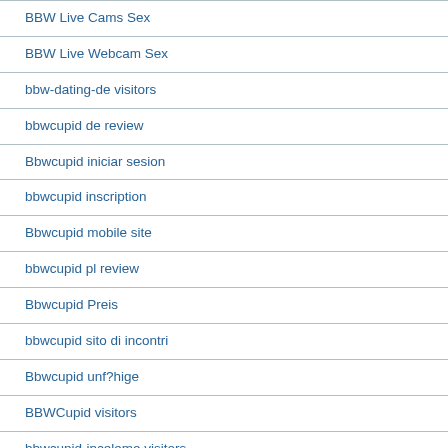BBW Live Cams Sex
BBW Live Webcam Sex
bbw-dating-de visitors
bbwcupid de review
Bbwcupid iniciar sesion
bbwcupid inscription
Bbwcupid mobile site
bbwcupid pl review
Bbwcupid Preis
bbwcupid sito di incontri
Bbwcupid unf?hige
BBWCupid visitors
bbwcupid-inceleme visitors
BBWDateFinder visitors
bbwdatefinder-overzicht MOBIELE SITE